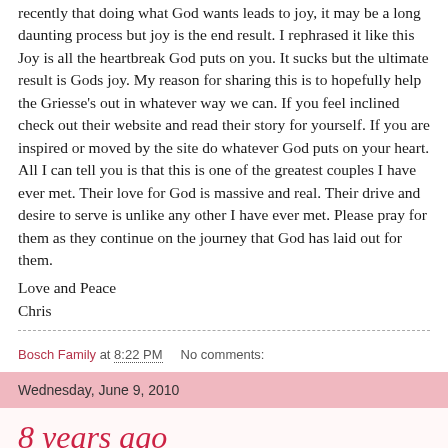recently that doing what God wants leads to joy, it may be a long daunting process but joy is the end result. I rephrased it like this Joy is all the heartbreak God puts on you. It sucks but the ultimate result is Gods joy. My reason for sharing this is to hopefully help the Griesse's out in whatever way we can. If you feel inclined check out their website and read their story for yourself. If you are inspired or moved by the site do whatever God puts on your heart. All I can tell you is that this is one of the greatest couples I have ever met. Their love for God is massive and real. Their drive and desire to serve is unlike any other I have ever met. Please pray for them as they continue on the journey that God has laid out for them.
Love and Peace
Chris
Bosch Family at 8:22 PM    No comments:
Wednesday, June 9, 2010
8 years ago